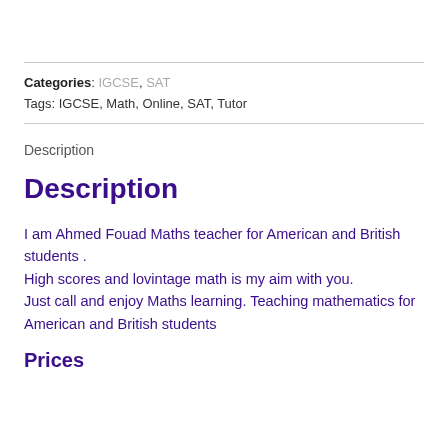Categories: IGCSE, SAT
Tags: IGCSE, Math, Online, SAT, Tutor
Description
Description
I am Ahmed Fouad Maths teacher for American and British students .
High scores and lovintage math is my aim with you.
Just call and enjoy Maths learning. Teaching mathematics for American and British students
Prices